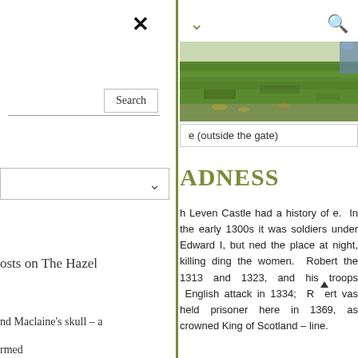✕  ✓  🔍
[Figure (photo): Outdoor photo of grass and ground area outside a castle gate]
e (outside the gate)
ADNESS
h Leven Castle had a history of e. In the early 1300s it was soldiers under Edward I, but ned the place at night, killing ding the women. Robert the 1313 and 1323, and his troops English attack in 1334; Robert vas held prisoner here in 1369, as crowned King of Scotland – line.
osts on The Hazel
nd Maclaine's skull – a
rmed